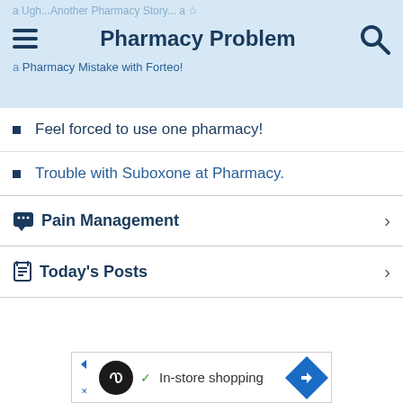Pharmacy Problem
Feel forced to use one pharmacy!
Trouble with Suboxone at Pharmacy.
Pain Management
Today's Posts
[Figure (screenshot): Ad banner showing a circular dark logo with infinity symbol, checkmark, text 'In-store shopping', and a blue diamond navigation icon]